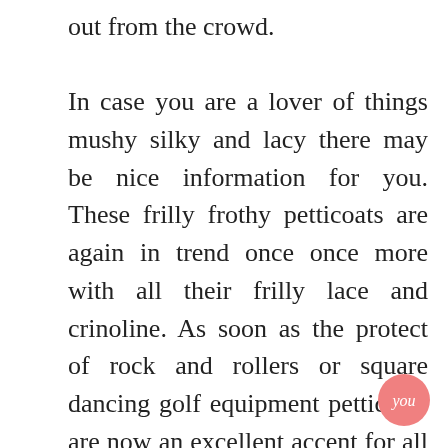out from the crowd.

In case you are a lover of things mushy silky and lacy there may be nice information for you. These frilly frothy petticoats are again in trend once once more with all their frilly lace and crinoline. As soon as the protect of rock and rollers or square dancing golf equipment petticoats are now an excellent accent for all you fashion victims out there. So check out the deepest depths of your wardrobe and dig out those netted petticoats or crinoline numbers which are buried in there. If you happen to chucked them out to the charity
[Figure (logo): Pink circular logo with 'you' text in white]